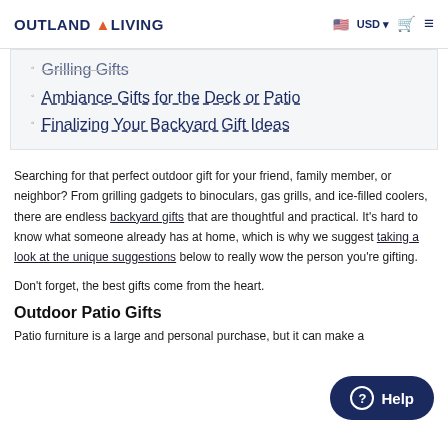OUTLAND LIVING  USD  [cart] [menu]
Grilling Gifts
Ambiance Gifts for the Deck or Patio
Finalizing Your Backyard Gift Ideas
Searching for that perfect outdoor gift for your friend, family member, or neighbor? From grilling gadgets to binoculars, gas grills, and ice-filled coolers, there are endless backyard gifts that are thoughtful and practical. It's hard to know what someone already has at home, which is why we suggest taking a look at the unique suggestions below to really wow the person you're gifting.
Don't forget, the best gifts come from the heart.
Outdoor Patio Gifts
Patio furniture is a large and personal purchase, but it can make a